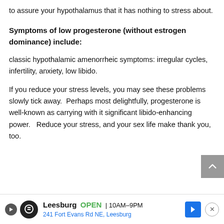to assure your hypothalamus that it has nothing to stress about.
Symptoms of low progesterone (without estrogen dominance) include:
classic hypothalamic amenorrheic symptoms: irregular cycles, infertility, anxiety, low libido.
If you reduce your stress levels, you may see these problems slowly tick away.  Perhaps most delightfully, progesterone is well-known as carrying with it significant libido-enhancing power.   Reduce your stress, and your sex life make thank you, too.
Leesburg  OPEN  10AM–9PM  241 Fort Evans Rd NE, Leesburg